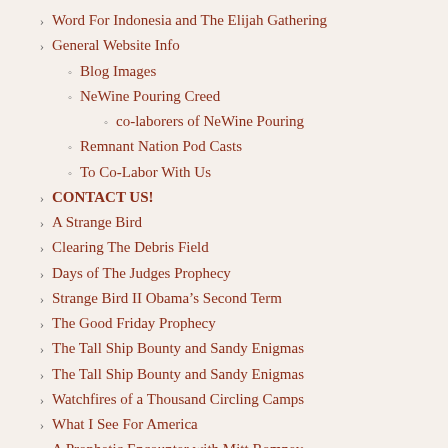Word For Indonesia and The Elijah Gathering
General Website Info
Blog Images
NeWine Pouring Creed
co-laborers of NeWine Pouring
Remnant Nation Pod Casts
To Co-Labor With Us
CONTACT US!
A Strange Bird
Clearing The Debris Field
Days of The Judges Prophecy
Strange Bird II Obama's Second Term
The Good Friday Prophecy
The Tall Ship Bounty and Sandy Enigmas
The Tall Ship Bounty and Sandy Enigmas
Watchfires of a Thousand Circling Camps
What I See For America
A Prophetic Encounter with Mitt Romney